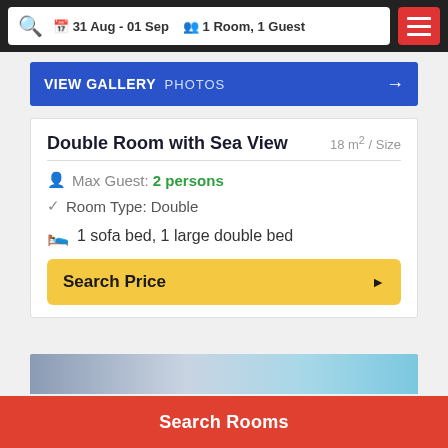31 Aug - 01 Sep  |  1 Room, 1 Guest
[Figure (screenshot): Blue VIEW GALLERY PHOTOS bar with right arrow]
Double Room with Sea View
18 m² / Size
Max Guest: 2 persons
Room Type: Double
1 sofa bed, 1 large double bed
Search Price
[Figure (photo): Partial hotel room or pool photo at the bottom]
Search Rooms